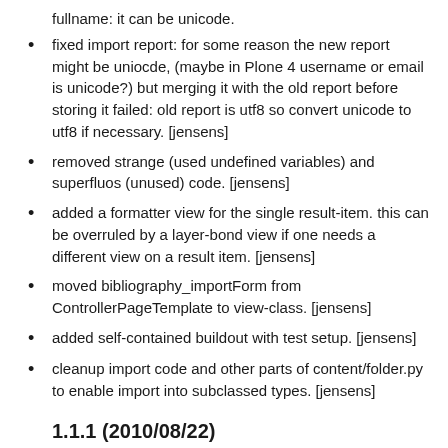fullname: it can be unicode.
fixed import report: for some reason the new report might be uniocde, (maybe in Plone 4 username or email is unicode?) but merging it with the old report before storing it failed: old report is utf8 so convert unicode to utf8 if necessary. [jensens]
removed strange (used undefined variables) and superfluos (unused) code. [jensens]
added a formatter view for the single result-item. this can be overruled by a layer-bond view if one needs a different view on a result item. [jensens]
moved bibliography_importForm from ControllerPageTemplate to view-class. [jensens]
added self-contained buildout with test setup. [jensens]
cleanup import code and other parts of content/folder.py to enable import into subclassed types. [jensens]
1.1.1 (2010/08/22)